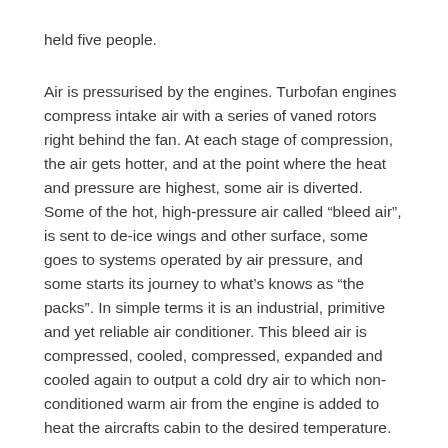held five people.
Air is pressurised by the engines. Turbofan engines compress intake air with a series of vaned rotors right behind the fan. At each stage of compression, the air gets hotter, and at the point where the heat and pressure are highest, some air is diverted. Some of the hot, high-pressure air called “bleed air”, is sent to de-ice wings and other surface, some goes to systems operated by air pressure, and some starts its journey to what’s knows as “the packs”. In simple terms it is an industrial, primitive and yet reliable air conditioner. This bleed air is compressed, cooled, compressed, expanded and cooled again to output a cold dry air to which non-conditioned warm air from the engine is added to heat the aircrafts cabin to the desired temperature.